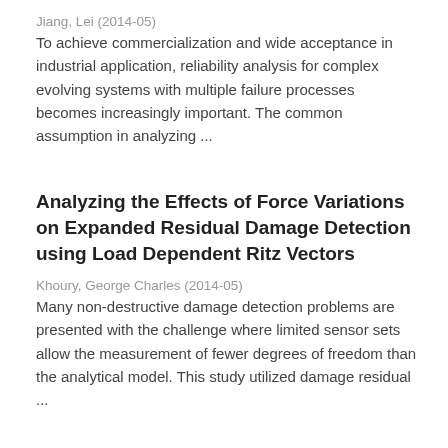Jiang, Lei (2014-05)
To achieve commercialization and wide acceptance in industrial application, reliability analysis for complex evolving systems with multiple failure processes becomes increasingly important. The common assumption in analyzing ...
Analyzing the Effects of Force Variations on Expanded Residual Damage Detection using Load Dependent Ritz Vectors
Khoury, George Charles (2014-05)
Many non-destructive damage detection problems are presented with the challenge where limited sensor sets allow the measurement of fewer degrees of freedom than the analytical model. This study utilized damage residual ...
Zircon Geochronology of Volcanic Rocks from the Trans-